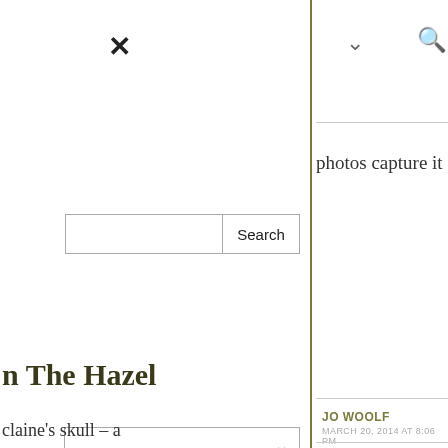✕
photos capture it perfectly...perfect
Search
✓ (chevron dropdown)
n The Hazel
claine's skull – a
✓ (top center chevron)
🔍 (search icon)
JO WOOLF
MARCH 20, 2014 AT 8:06 PM
REPLY
Thank you, Lynne! It was the perfect day for photography.